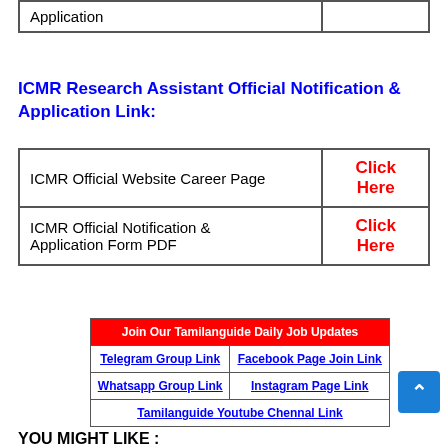|  |  |
| --- | --- |
| Application |  |
ICMR Research Assistant Official Notification & Application Link:
|  |  |
| --- | --- |
| ICMR Official Website Career Page | Click Here |
| ICMR Official Notification & Application Form PDF | Click Here |
| Join   Our Tamilanguide Daily Job Updates |
| --- |
| Telegram Group Link | Facebook Page Join Link |
| Whatsapp Group Link | Instagram Page Link |
| Tamilanguide Youtube Chennal Link |  |
YOU MIGHT LIKE :